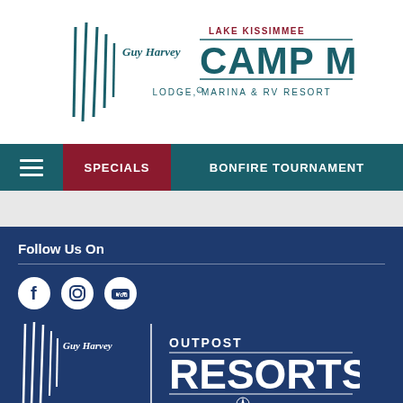[Figure (logo): Guy Harvey Camp Mack Lodge Marina & RV Resort logo with Lake Kissimmee text]
SPECIALS | BONFIRE TOURNAMENT
Follow Us On
[Figure (logo): Guy Harvey Outpost Resorts - Travel Inspired logo in white on dark blue background]
Privacy Policy | © Copyright 2020 Camp Mack, a Guy Harvey Lodge,